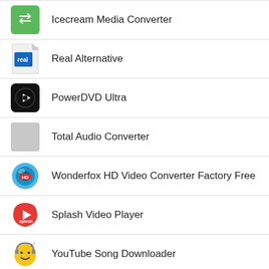Icecream Media Converter
Real Alternative
PowerDVD Ultra
Total Audio Converter
Wonderfox HD Video Converter Factory Free
Splash Video Player
YouTube Song Downloader